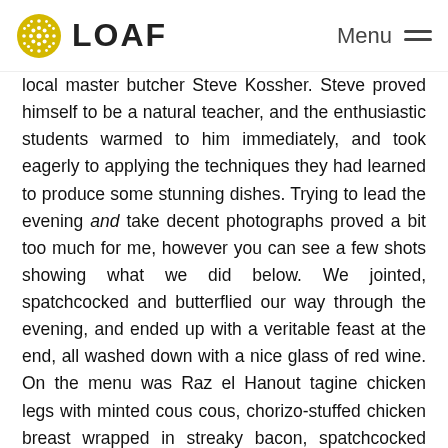LOAF | Menu
local master butcher Steve Kossher. Steve proved himself to be a natural teacher, and the enthusiastic students warmed to him immediately, and took eagerly to applying the techniques they had learned to produce some stunning dishes. Trying to lead the evening and take decent photographs proved a bit too much for me, however you can see a few shots showing what we did below. We jointed, spatchcocked and butterflied our way through the evening, and ended up with a veritable feast at the end, all washed down with a nice glass of red wine. On the menu was Raz el Hanout tagine chicken legs with minted cous cous, chorizo-stuffed chicken breast wrapped in streaky bacon, spatchcocked poussin with lemon and wild garlic, and chicken liver and wild leaf salad. Sadly I didn't get any shots of the finished dishes, but I have included a 'one-I-made earlier' photo of the wrapped chicken breast